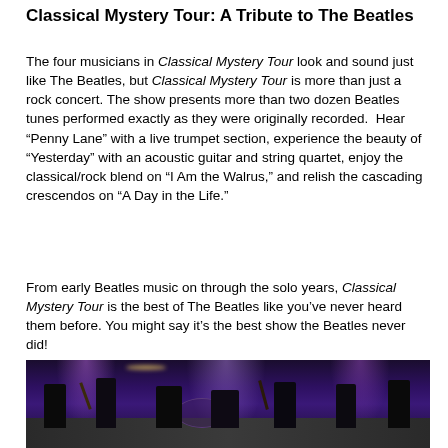Classical Mystery Tour: A Tribute to The Beatles
The four musicians in Classical Mystery Tour look and sound just like The Beatles, but Classical Mystery Tour is more than just a rock concert. The show presents more than two dozen Beatles tunes performed exactly as they were originally recorded. Hear “Penny Lane” with a live trumpet section, experience the beauty of “Yesterday” with an acoustic guitar and string quartet, enjoy the classical/rock blend on “I Am the Walrus,” and relish the cascading crescendos on “A Day in the Life.”
From early Beatles music on through the solo years, Classical Mystery Tour is the best of The Beatles like you’ve never heard them before. You might say it’s the best show the Beatles never did!
[Figure (photo): Concert photo showing band members performing on a purple/violet-lit stage with instruments including guitars and drums]